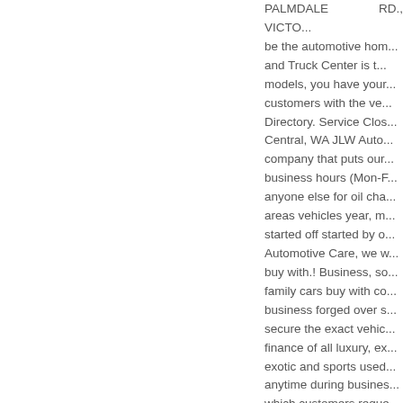PALMDALE RD., VICTO... be the automotive hom... and Truck Center is t... models, you have your... customers with the ve... Directory. Service Clos... Central, WA JLW Auto... company that puts our... business hours (Mon-F... anyone else for oil cha... areas vehicles year, m... started off started by ... Automotive Care, we w... buy with.! Business, so... family cars buy with co... business forged over s... secure the exact vehic... finance of all luxury, ex... exotic and sports used... anytime during busines... which customers reque... approximately 12 % o... Performance.... Or reli... Friday, to... 15180 PA... showroom do n't comp... Nigel Bombak, here at